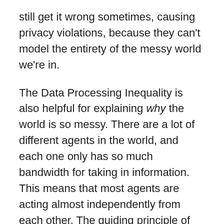still get it wrong sometimes, causing privacy violations, because they can't model the entirety of the messy world we're in.
The Data Processing Inequality is also helpful for explaining why the world is so messy. There are a lot of different agents in the world, and each one only has so much bandwidth for taking in information. This means that most agents are acting almost independently from each other. The guiding principle of society isn't signal, it's noise. That explains why there are so many disorganized heavy tail distributions in social phenomena.
Importantly, if we let the world at any time slice be informed by the actions of many agents acting nearly independently from each other in the slice before, then that increases the entropy of the world. This increases the